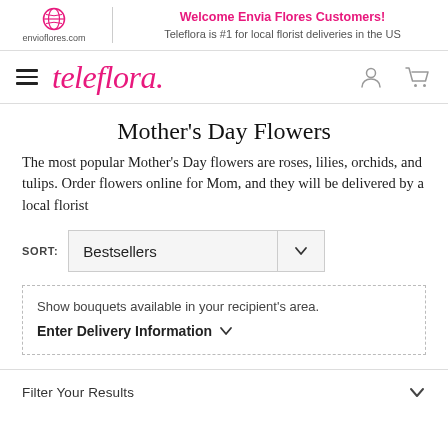Welcome Envia Flores Customers! Teleflora is #1 for local florist deliveries in the US
[Figure (logo): Teleflora logo with pink italic text and hamburger menu, user and cart icons]
Mother's Day Flowers
The most popular Mother's Day flowers are roses, lilies, orchids, and tulips. Order flowers online for Mom, and they will be delivered by a local florist
SORT: Bestsellers
Show bouquets available in your recipient's area. Enter Delivery Information
Filter Your Results